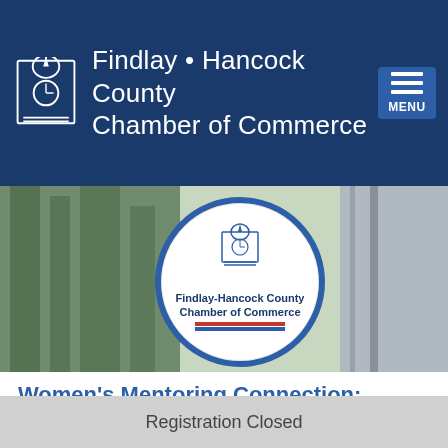Findlay • Hancock County Chamber of Commerce
[Figure (photo): Outdoor photo showing the Findlay-Hancock County Chamber of Commerce circular sign on a building, with trees in the background]
Women's Mentoring Connection: Navigating the first half of your career
Back to Search
Registration Closed